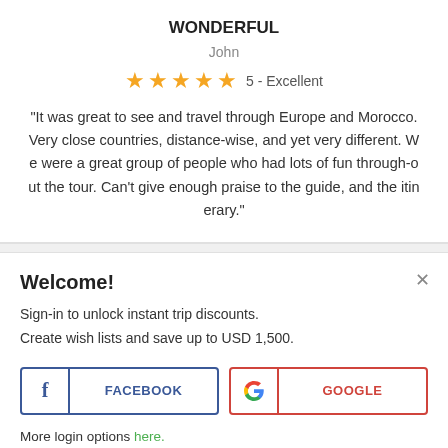WONDERFUL
John
[Figure (other): 5 orange stars rating with label '5 - Excellent']
"It was great to see and travel through Europe and Morocco. Very close countries, distance-wise, and yet very different. We were a great group of people who had lots of fun through-out the tour. Can't give enough praise to the guide, and the itinerary."
Welcome!
Sign-in to unlock instant trip discounts.
Create wish lists and save up to USD 1,500.
[Figure (other): Facebook login button with f icon and FACEBOOK label]
[Figure (other): Google login button with G icon and GOOGLE label]
More login options here.